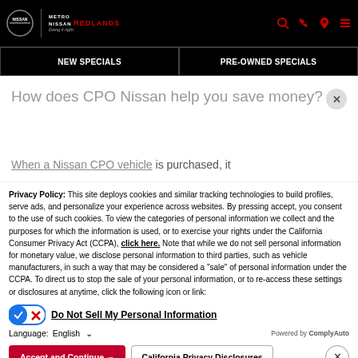[Figure (logo): Metro Nissan Redlands dealership logo and navigation header on black background with search, phone, location, and menu icons]
NEW SPECIALS | PRE-OWNED SPECIALS
How does CPO Nissan help you save money?
When a Nissan CPO vehicle is purchased, it
Privacy Policy: This site deploys cookies and similar tracking technologies to build profiles, serve ads, and personalize your experience across websites. By pressing accept, you consent to the use of such cookies. To view the categories of personal information we collect and the purposes for which the information is used, or to exercise your rights under the California Consumer Privacy Act (CCPA), click here. Note that while we do not sell personal information for monetary value, we disclose personal information to third parties, such as vehicle manufacturers, in such a way that may be considered a "sale" of personal information under the CCPA. To direct us to stop the sale of your personal information, or to re-access these settings or disclosures at anytime, click the following icon or link:
Do Not Sell My Personal Information
Language: English
Powered by ComplyAuto
Accept and Continue → | California Privacy Disclosures